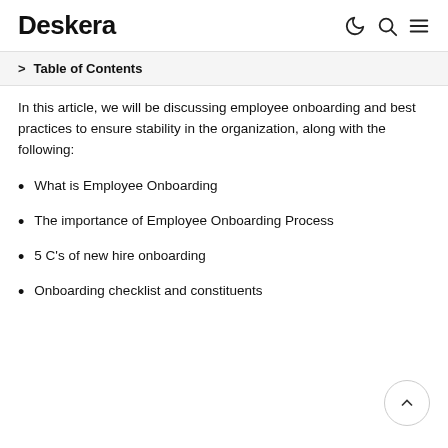Deskera
> Table of Contents
In this article, we will be discussing employee onboarding and best practices to ensure stability in the organization, along with the following:
What is Employee Onboarding
The importance of Employee Onboarding Process
5 C's of new hire onboarding
Onboarding checklist and constituents